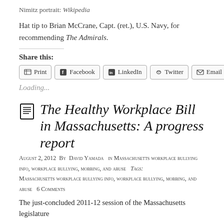Nimitz portrait: Wikipedia
Hat tip to Brian McCrane, Capt. (ret.), U.S. Navy, for recommending The Admirals.
Share this:
Loading...
The Healthy Workplace Bill in Massachusetts: A progress report
August 2, 2012  By  David Yamada  in  Massachusetts workplace bullying info,  workplace bullying, mobbing, and abuse   Tags:  Massachusetts workplace bullying info,  workplace bullying, mobbing, and abuse   6 Comments
The just-concluded 2011-12 session of the Massachusetts legislature